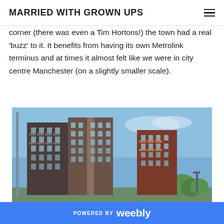MARRIED WITH GROWN UPS
corner (there was even a Tim Hortons!) the town had a real 'buzz' to it. It benefits from having its own Metrolink terminus and at times it almost felt like we were in city centre Manchester (on a slightly smaller scale).
[Figure (photo): Photograph of modern high-rise apartment buildings with brick and dark cladding facade, balconies, green trees in background, blue sky with light clouds.]
POWERED BY weebly